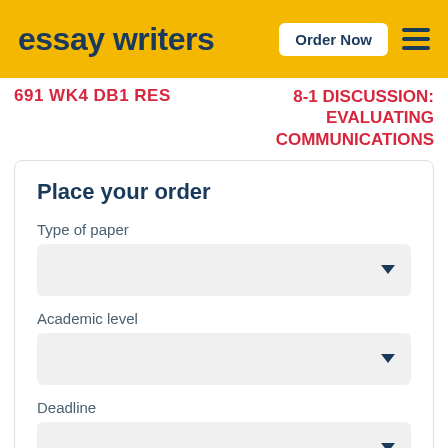essay writers | Order Now
691 WK4 DB1 RES
8-1 DISCUSSION: EVALUATING COMMUNICATIONS
Place your order
Type of paper
[Figure (other): Dropdown selector for Type of paper]
Academic level
[Figure (other): Dropdown selector for Academic level]
Deadline
[Figure (other): Dropdown selector for Deadline]